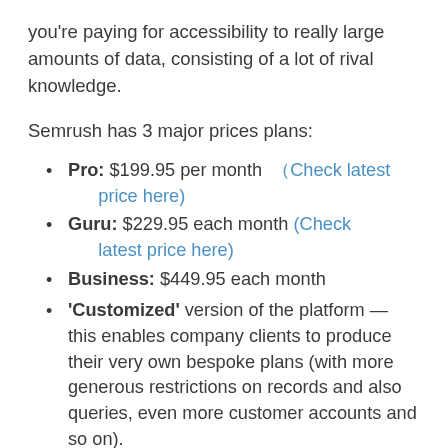you're paying for accessibility to really large amounts of data, consisting of a lot of rival knowledge.
Semrush has 3 major prices plans:
Pro: $199.95 per month (Check latest price here)
Guru: $229.95 each month (Check latest price here)
Business: $449.95 each month
'Customized' version of the platform — this enables company clients to produce their very own bespoke plans (with more generous restrictions on records and also queries, even more customer accounts and so on).